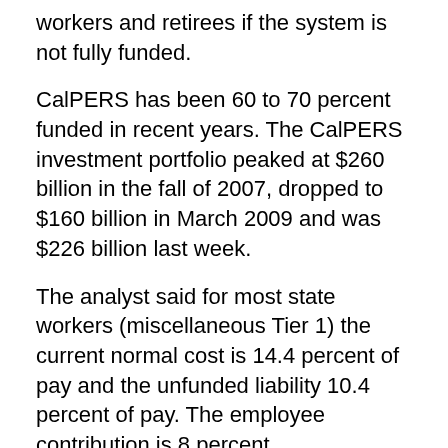workers and retirees if the system is not fully funded.
CalPERS has been 60 to 70 percent funded in recent years. The CalPERS investment portfolio peaked at $260 billion in the fall of 2007, dropped to $160 billion in March 2009 and was $226 billion last week.
The analyst said for most state workers (miscellaneous Tier 1) the current normal cost is 14.4 percent of pay and the unfunded liability 10.4 percent of pay. The employee contribution is 8 percent.
So employees are paying more than half the normal cost, but only about a third of the total cost of 24.8 percent of pay. The other two-thirds is being paid by the taxpayer-supported state budget.
For the more generous pensions provided correctional